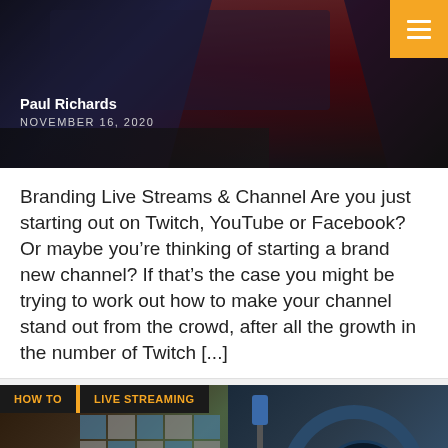[Figure (photo): Dark hero image of a person at a computer, with a gaming/streaming background]
Paul Richards
NOVEMBER 16, 2020
Branding Live Streams & Channel Are you just starting out on Twitch, YouTube or Facebook? Or maybe you’re thinking of starting a brand new channel? If that’s the case you might be trying to work out how to make your channel stand out from the crowd, after all the growth in the number of Twitch [...]
[Figure (photo): Second article card with live streaming studio image showing microphones and headphones, with HOW TO and LIVE STREAMING category tags]